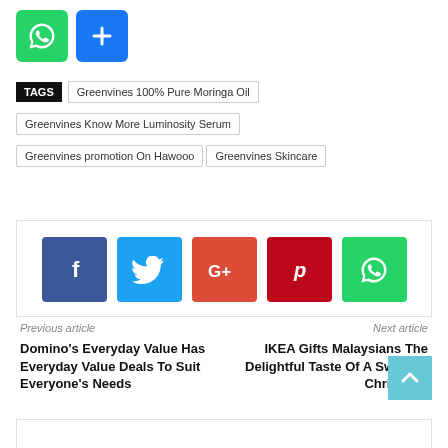[Figure (infographic): WhatsApp share icon (green) and a blue plus/share icon button at top left]
TAGS  Greenvines 100% Pure Moringa Oil  Greenvines Know More Luminosity Serum  Greenvines promotion On Hawooo  Greenvines Skincare
[Figure (infographic): Social media share bar with Facebook, Twitter, Google+, Pinterest, and WhatsApp icon buttons]
Previous article
Next article
Domino's Everyday Value Has Everyday Value Deals To Suit Everyone's Needs
IKEA Gifts Malaysians The Delightful Taste Of A Swedish Christmas